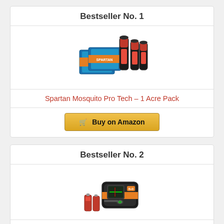Bestseller No. 1
[Figure (photo): Spartan Mosquito Pro Tech product image showing spray cans and packaging]
Spartan Mosquito Pro Tech – 1 Acre Pack
Buy on Amazon
Bestseller No. 2
[Figure (photo): BLACK+DECKER Laser Level BDL220S product image showing laser level device with batteries]
BLACK+DECKER Laser Level (BDL220S)